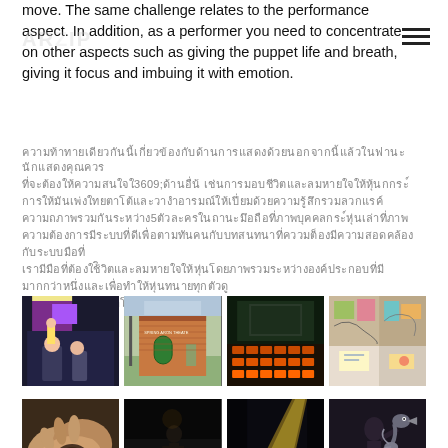move. The same challenge relates to the performance aspect. In addition, as a performer you need to concentrate on other aspects such as giving the puppet life and breath, giving it focus and imbuing it with emotion.
[Thai text line 1 - redacted]
[Thai text paragraph - multiple lines with number 5]
[Figure (photo): Four photos in a row: puppet theater performance with purple props, exterior of brick building with green door, theater interior with orange seats, art studio workspace]
[Figure (photo): Four photos in a row (partially visible): hands working with clay/puppet material, dark stage scene, spotlight on stage, puppet performer with bird puppet]